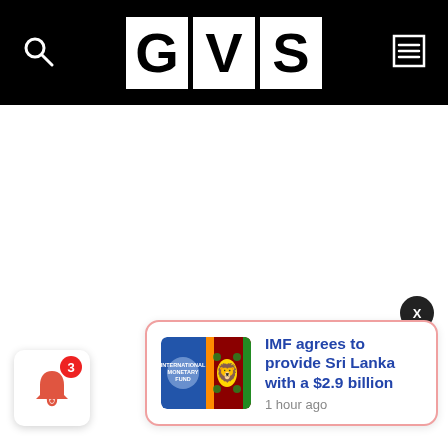GVS
[Figure (logo): GVS news website logo — three white squares each containing a bold black letter: G, V, S — on a black header bar]
IMF agrees to provide Sri Lanka with a $2.9 billion
1 hour ago